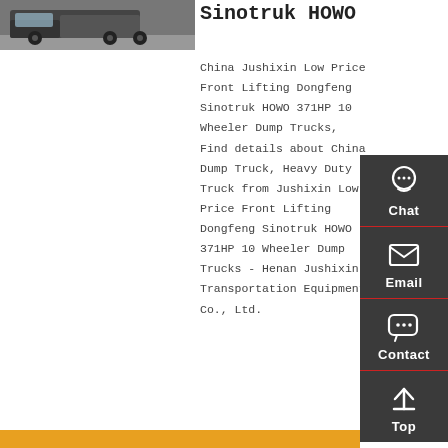[Figure (photo): Photo of a dump truck in a warehouse or factory setting, partially visible at top left]
Sinotruk HOWO
China Jushixin Low Price Front Lifting Dongfeng Sinotruk HOWO 371HP 10 Wheeler Dump Trucks, Find details about China Dump Truck, Heavy Duty Truck from Jushixin Low Price Front Lifting Dongfeng Sinotruk HOWO 371HP 10 Wheeler Dump Trucks - Henan Jushixin Transportation Equipment Co., Ltd.
[Figure (infographic): Sidebar with four contact icons: Chat (headset icon), Email (envelope icon), Contact (speech bubble icon), Top (up arrow icon). Dark gray background with red dividers.]